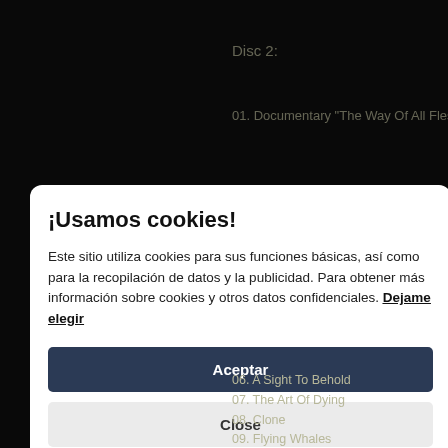Disc 2:
01. Documentary "The Way Of All Flesh In...
se
¡Usamos cookies!
Este sitio utiliza cookies para sus funciones básicas, así como para la recopilación de datos y la publicidad. Para obtener más información sobre cookies y otros datos confidenciales. Dejame elegir
Aceptar
Close
se
06. A Sight To Behold
07. The Art Of Dying
08. Clone
09. Flying Whales
10. The Way Of All Flesh...